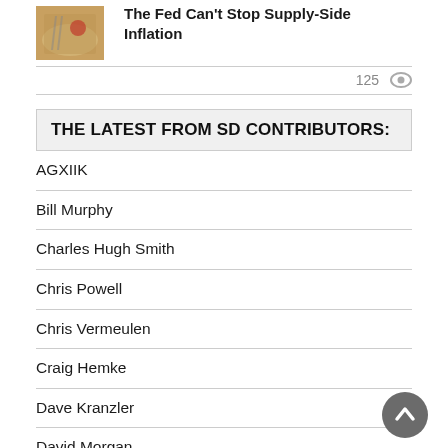[Figure (photo): Thumbnail image of food/dish for article]
The Fed Can't Stop Supply-Side Inflation
125 👁
THE LATEST FROM SD CONTRIBUTORS:
AGXIIK
Bill Murphy
Charles Hugh Smith
Chris Powell
Chris Vermeulen
Craig Hemke
Dave Kranzler
David Morgan